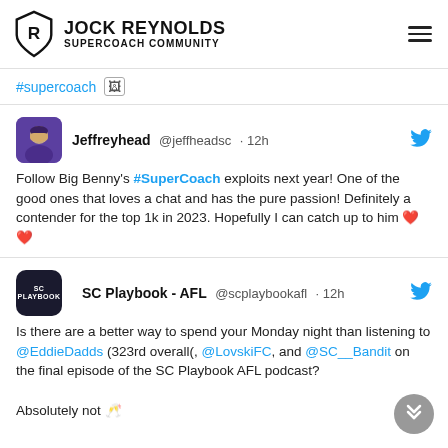JOCK REYNOLDS SUPERCOACH COMMUNITY
#supercoach
Jeffreyhead @jeffheadsc · 12h
Follow Big Benny's #SuperCoach exploits next year! One of the good ones that loves a chat and has the pure passion! Definitely a contender for the top 1k in 2023. Hopefully I can catch up to him ❤❤
SC Playbook - AFL @scplaybookafl · 12h
Is there are a better way to spend your Monday night than listening to @EddieDadds (323rd overall(, @LovskiFC, and @SC__Bandit on the final episode of the SC Playbook AFL podcast?

Absolutely not 🥂